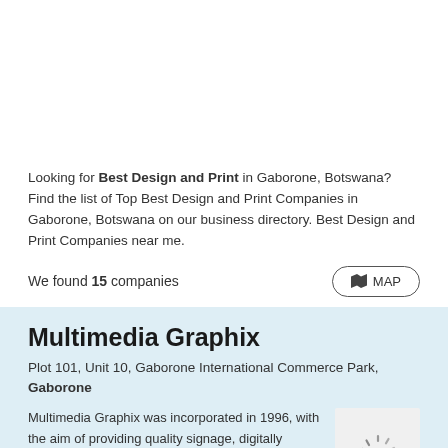Looking for Best Design and Print in Gaborone, Botswana? Find the list of Top Best Design and Print Companies in Gaborone, Botswana on our business directory. Best Design and Print Companies near me.
We found 15 companies
Multimedia Graphix
Plot 101, Unit 10, Gaborone International Commerce Park, Gaborone
Multimedia Graphix was incorporated in 1996, with the aim of providing quality signage, digitally printed graphics, promotional items and corporate clothing to the construction and advertising industr...